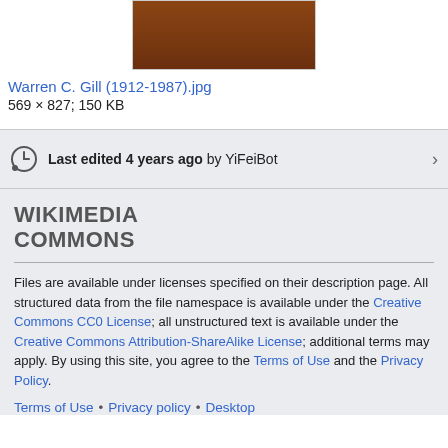[Figure (photo): Thumbnail of Warren C. Gill portrait photo (brown book cover visible)]
Warren C. Gill (1912-1987).jpg
569 × 827; 150 KB
Last edited 4 years ago by YiFeiBot
WIKIMEDIA COMMONS
Files are available under licenses specified on their description page. All structured data from the file namespace is available under the Creative Commons CC0 License; all unstructured text is available under the Creative Commons Attribution-ShareAlike License; additional terms may apply. By using this site, you agree to the Terms of Use and the Privacy Policy.
Terms of Use • Privacy policy • Desktop